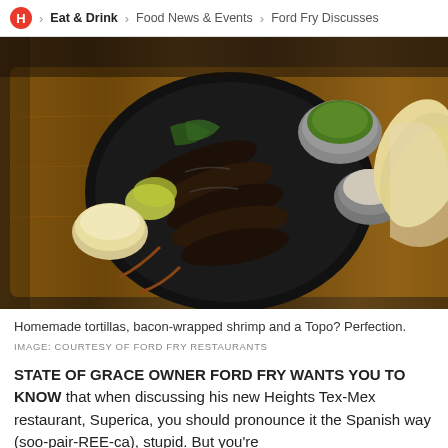H > Eat & Drink > Food News & Events > Ford Fry Discusses
[Figure (photo): Food photo showing bacon-wrapped grilled shrimp on a dark cast iron plate set on a wooden cutting board, with side dishes including guacamole in a metal cup, pico de gallo in a metal cup, and homemade flour tortillas on the right side.]
Homemade tortillas, bacon-wrapped shrimp and a Topo? Perfection.
IMAGE: COURTESY OF FORD FRY RESTAURANTS
STATE OF GRACE OWNER FORD FRY WANTS YOU TO KNOW that when discussing his new Heights Tex-Mex restaurant, Superica, you should pronounce it the Spanish way (soo-pair-REE-ca), stupid. But you're